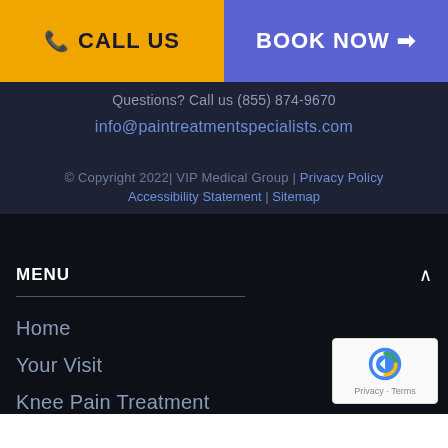CALL US | BOOK NOW
Questions? Call us (855) 874-9670
info@paintreatmentspecialists.com
© Copyright 2022| VIP Medical Group | Privacy Policy Accessibility Statement | Sitemap
MENU
Home
Your Visit
Knee Pain Treatment